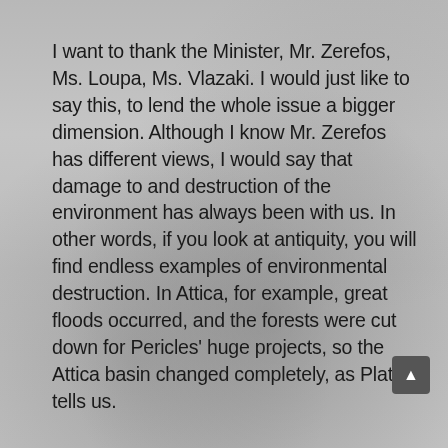I want to thank the Minister, Mr. Zerefos, Ms. Loupa, Ms. Vlazaki. I would just like to say this, to lend the whole issue a bigger dimension. Although I know Mr. Zerefos has different views, I would say that damage to and destruction of the environment has always been with us. In other words, if you look at antiquity, you will find endless examples of environmental destruction. In Attica, for example, great floods occurred, and the forests were cut down for Pericles' huge projects, so the Attica basin changed completely, as Plato tells us.
And in Lebanon, almost all of the cedars were cut down, leaving Lebanon bare. Cyprus lost it timber because the Ptolemaic dynasty built fleets. These became one big mine in antiquity.